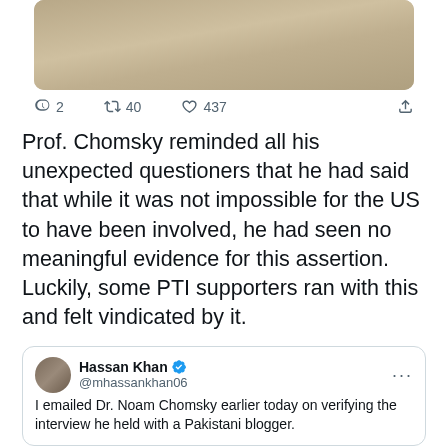[Figure (photo): A partial Twitter/social media post image showing scattered papers/documents on a floor, cropped at the top]
2  40  437
Prof. Chomsky reminded all his unexpected questioners that he had said that while it was not impossible for the US to have been involved, he had seen no meaningful evidence for this assertion. Luckily, some PTI supporters ran with this and felt vindicated by it.
Hassan Khan @mhassankhan06 I emailed Dr. Noam Chomsky earlier today on verifying the interview he held with a Pakistani blogger.